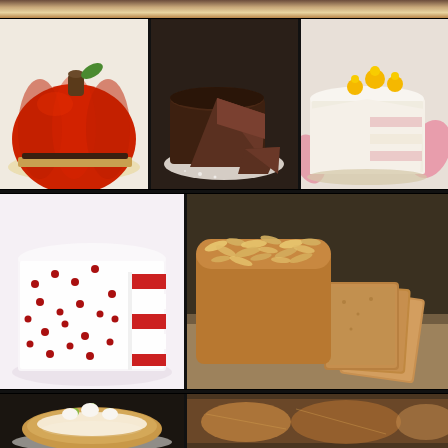[Figure (photo): Collage of cake and baked goods photos: top strip partially visible, middle row with pumpkin-shaped red cake, chocolate cake with slice removed, white-frosted layered cake with yellow flowers; lower-middle row with red velvet cake decorated with pomegranate seeds and a large loaf cake topped with flaked almonds beside sliced pieces; bottom row with a cream puff / Paris-Brest style pastry and another partial strip of baked goods.]